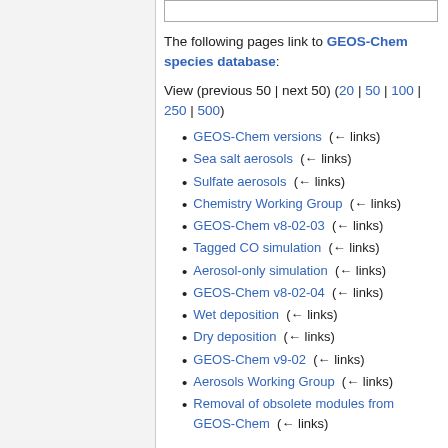The following pages link to GEOS-Chem species database:
View (previous 50 | next 50) (20 | 50 | 100 | 250 | 500)
GEOS-Chem versions  (← links)
Sea salt aerosols  (← links)
Sulfate aerosols  (← links)
Chemistry Working Group  (← links)
GEOS-Chem v8-02-03  (← links)
Tagged CO simulation  (← links)
Aerosol-only simulation  (← links)
GEOS-Chem v8-02-04  (← links)
Wet deposition  (← links)
Dry deposition  (← links)
GEOS-Chem v9-02  (← links)
Aerosols Working Group  (← links)
Removal of obsolete modules from GEOS-Chem  (← links)